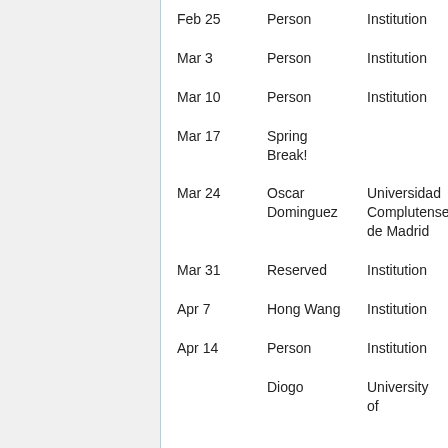| Date | Person | Institution |
| --- | --- | --- |
| Feb 25 | Person | Institution |
| Mar 3 | Person | Institution |
| Mar 10 | Person | Institution |
| Mar 17 | Spring Break! |  |
| Mar 24 | Oscar Dominguez | Universidad Complutense de Madrid |
| Mar 31 | Reserved | Institution |
| Apr 7 | Hong Wang | Institution |
| Apr 14 | Person | Institution |
|  | Diogo | University of |